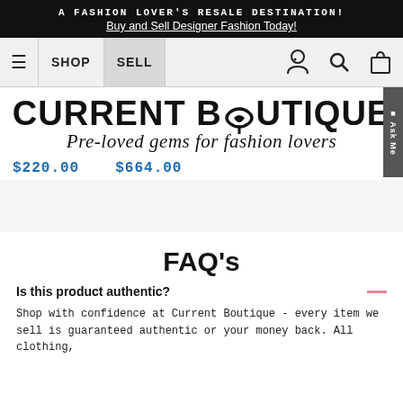A FASHION LOVER'S RESALE DESTINATION! Buy and Sell Designer Fashion Today!
[Figure (screenshot): Navigation bar with hamburger menu, SHOP and SELL buttons, user icon, search icon, and shopping bag icon]
[Figure (logo): Current Boutique logo with heart replacing O, and tagline 'Pre-loved gems for fashion lovers']
$220.00  $664.00
FAQ's
Is this product authentic?
Shop with confidence at Current Boutique - every item we sell is guaranteed authentic or your money back. All clothing,